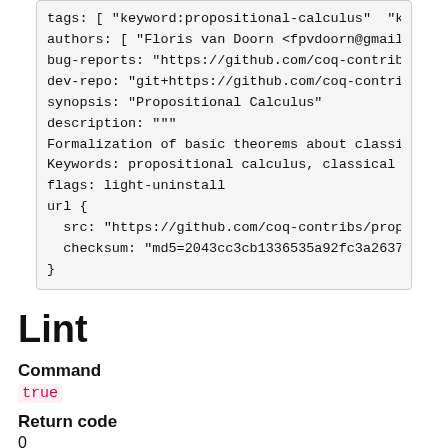tags: [ "keyword:propositional-calculus" "key
author: [ "Floris van Doorn <fpvdoorn@gmail.
bug-reports: "https://github.com/coq-contribs
dev-repo: "git+https://github.com/coq-contrib
synopsis: "Propositional Calculus"
description: """
Formalization of basic theorems about classic
Keywords: propositional calculus, classical l
flags: light-uninstall
url {
  src: "https://github.com/coq-contribs/propc
  checksum: "md5=2043cc3cb1336535a92fc3a26379
}
Lint
Command
true
Return code
0